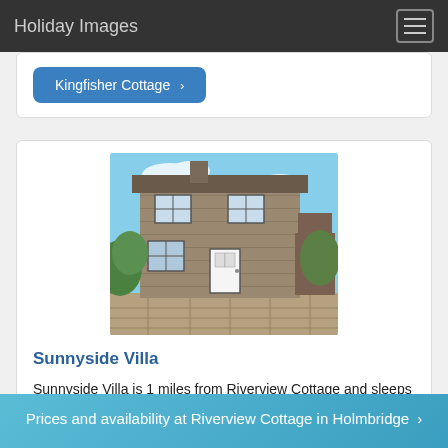Holiday Images
Kingfisher Cottage ›
[Figure (photo): Stone cottage exterior with two floors, white door, garden plants, brick facade against a blue sky]
Sunnyside Villa
Sunnyside Villa is 1 miles from Riverview Cottage and sleeps 5 people.
Sunnyside Villa ›
Prices and availability at Riverview Cottage in Holmbridge ›